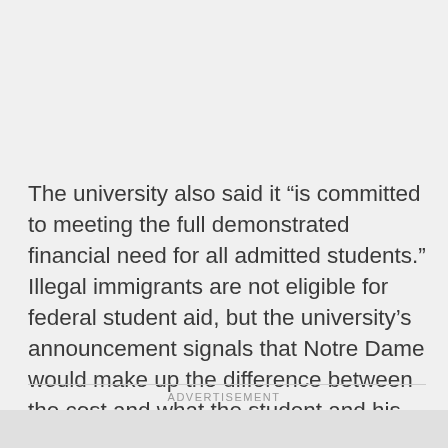The university also said it “is committed to meeting the full demonstrated financial need for all admitted students.” Illegal immigrants are not eligible for federal student aid, but the university’s announcement signals that Notre Dame would make up the difference between the cost and what the student and his or her family can afford.
ADVERTISEMENT